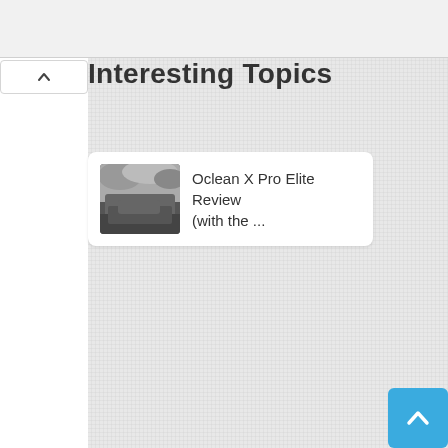[Figure (screenshot): Browser chrome top bar (light gray)]
[Figure (screenshot): Collapse/up-arrow button on left sidebar]
[Figure (screenshot): Main content area with linen/grid texture background]
Interesting Topics
[Figure (screenshot): Card with thumbnail image of a car/outdoor scene and title: Oclean X Pro Elite Review (with the ...]
[Figure (screenshot): Blue scroll-to-top button with up arrow caret]